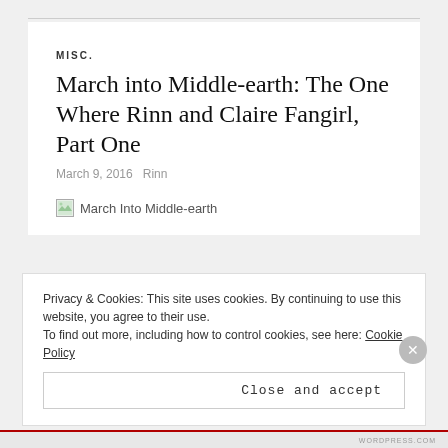MISC.
March into Middle-earth: The One Where Rinn and Claire Fangirl, Part One
March 9, 2016   Rinn
[Figure (photo): Broken image placeholder labeled 'March Into Middle-earth']
Privacy & Cookies: This site uses cookies. By continuing to use this website, you agree to their use.
To find out more, including how to control cookies, see here: Cookie Policy
Close and accept